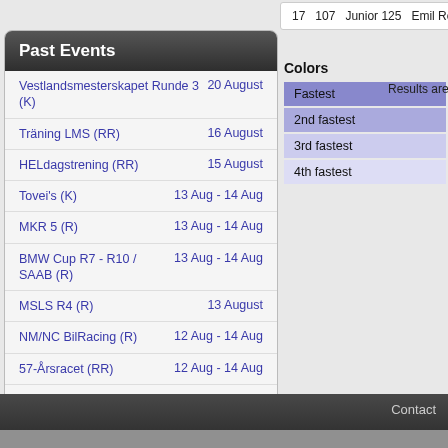| # | Num | Class | Name |
| --- | --- | --- | --- |
| 17 | 107 | Junior 125 | Emil Ro... |
Past Events
Vestlandsmesterskapet Runde 3 (K)   20 August
Träning LMS (RR)   16 August
HELdagstrening (RR)   15 August
Tovei's (K)   13 Aug - 14 Aug
MKR 5 (R)   13 Aug - 14 Aug
BMW Cup R7 - R10 / SAAB (R)   13 Aug - 14 Aug
MSLS R4 (R)   13 August
NM/NC BilRacing (R)   12 Aug - 14 Aug
57-Årsracet (RR)   12 Aug - 14 Aug
Träning LMS (RR)   9 August
More
Colors
Fastest
2nd fastest
3rd fastest
4th fastest
Results are
Contact